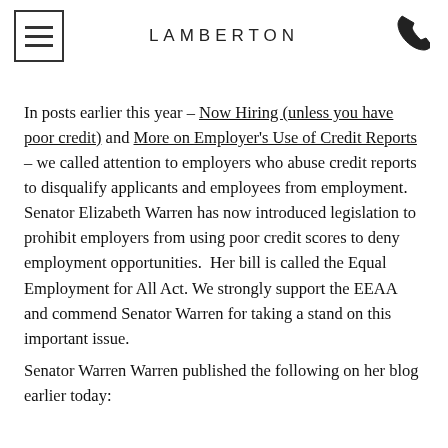LAMBERTON
In posts earlier this year – Now Hiring (unless you have poor credit) and More on Employer's Use of Credit Reports – we called attention to employers who abuse credit reports to disqualify applicants and employees from employment.  Senator Elizabeth Warren has now introduced legislation to prohibit employers from using poor credit scores to deny employment opportunities.  Her bill is called the Equal Employment for All Act. We strongly support the EEAA and commend Senator Warren for taking a stand on this important issue.
Senator Warren Warren published the following on her blog earlier today: